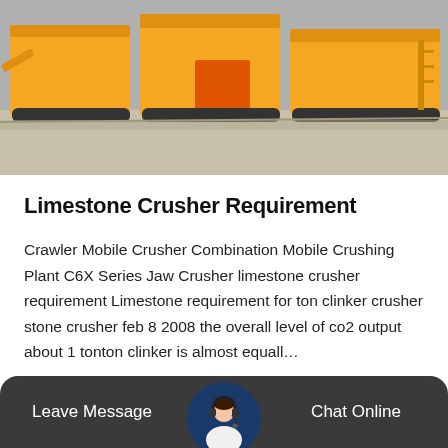[Figure (photo): Yellow heavy mining/crushing machinery and equipment parked in an industrial yard]
Limestone Crusher Requirement
Crawler Mobile Crusher Combination Mobile Crushing Plant C6X Series Jaw Crusher limestone crusher requirement Limestone requirement for ton clinker crusher stone crusher feb 8 2008 the overall level of co2 output about 1 tonton clinker is almost equall…
[Figure (other): Get Price button (orange/yellow rounded rectangle)]
Leave Message
Chat Online